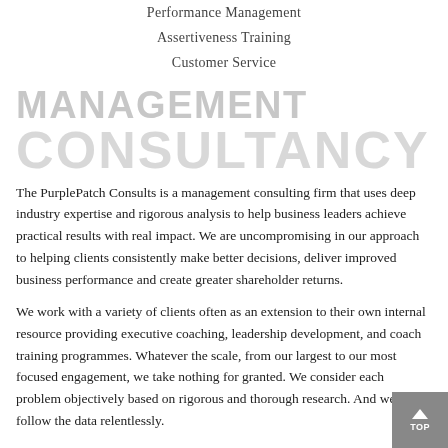Performance Management
Assertiveness Training
Customer Service
MANAGEMENT CONSULTANCY
The PurplePatch Consults is a management consulting firm that uses deep industry expertise and rigorous analysis to help business leaders achieve practical results with real impact. We are uncompromising in our approach to helping clients consistently make better decisions, deliver improved business performance and create greater shareholder returns.
We work with a variety of clients often as an extension to their own internal resource providing executive coaching, leadership development, and coach training programmes. Whatever the scale, from our largest to our most focused engagement, we take nothing for granted. We consider each problem objectively based on rigorous and thorough research. And we follow the data relentlessly.